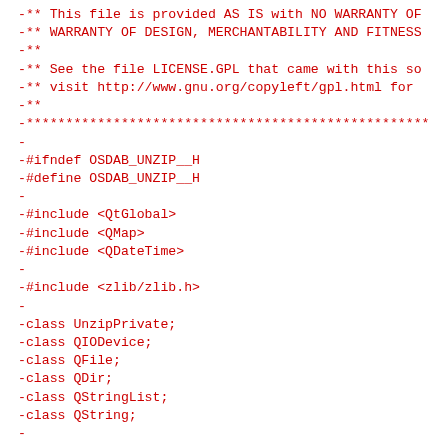-** This file is provided AS IS with NO WARRANTY OF
-** WARRANTY OF DESIGN, MERCHANTABILITY AND FITNESS
-**
-** See the file LICENSE.GPL that came with this so
-** visit http://www.gnu.org/copyleft/gpl.html for
-**
-***************************************************
-
-#ifndef OSDAB_UNZIP__H
-#define OSDAB_UNZIP__H
-
-#include <QtGlobal>
-#include <QMap>
-#include <QDateTime>
-
-#include <zlib/zlib.h>
-
-class UnzipPrivate;
-class QIODevice;
-class QFile;
-class QDir;
-class QStringList;
-class QString;
-
-
-class UnZip
-{
-public:
-        enum ErrorCode
-        {